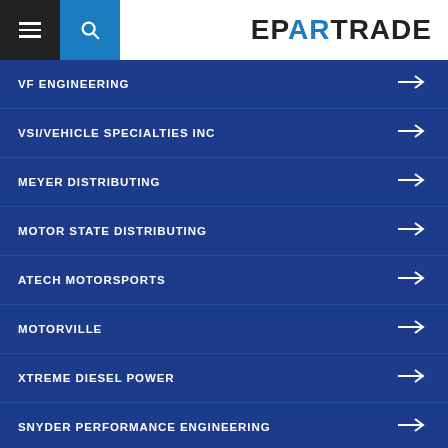EPARTRADE
VF ENGINEERING
VSI/VEHICLE SPECIALTIES INC
MEYER DISTRIBUTING
MOTOR STATE DISTRIBUTING
ATECH MOTORSPORTS
MOTORVILLE
XTREME DIESEL POWER
SNYDER PERFORMANCE ENGINEERING